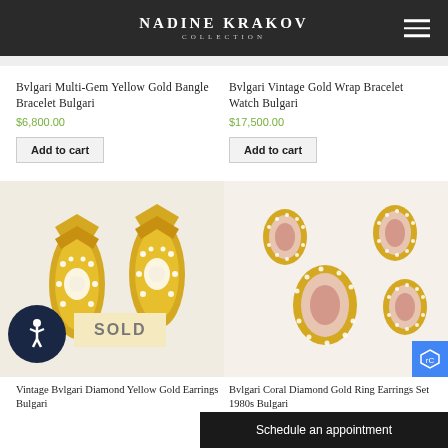Nadine Krakov Collection
Bvlgari Multi-Gem Yellow Gold Bangle Bracelet Bulgari
$6,800.00
Add to cart
Bvlgari Vintage Gold Wrap Bracelet Watch Bulgari
$17,500.00
Add to cart
[Figure (photo): Vintage Bvlgari Diamond Yellow Gold Earrings Bulgari with SOLD badge overlay]
[Figure (photo): Bvlgari Coral Diamond Gold Ring Earrings Set 1980s Bulgari]
Vintage Bvlgari Diamond Yellow Gold Earrings Bulgari
Bvlgari Coral Diamond Gold Ring Earrings Set 1980s Bulgari